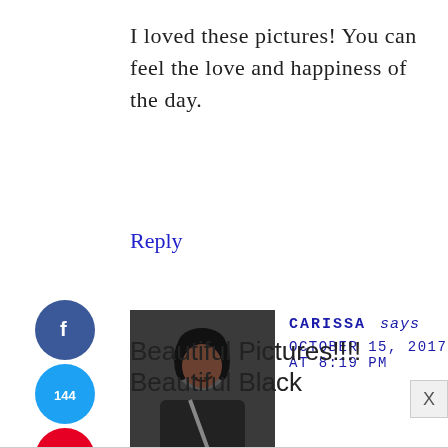I loved these pictures! You can feel the love and happiness of the day.
Reply
[Figure (illustration): Social media share buttons sidebar: Facebook (blue circle with f), Twitter (cyan circle with bird icon, 144), Pinterest (red circle with P icon), share count 144 SHARES]
[Figure (photo): Profile photo of Carissa, a smiling woman with dark hair in a car]
CARISSA says
OCTOBER 15, 2017 AT 8:19 PM
Beautiful Pictures!!!! Beautiful Black